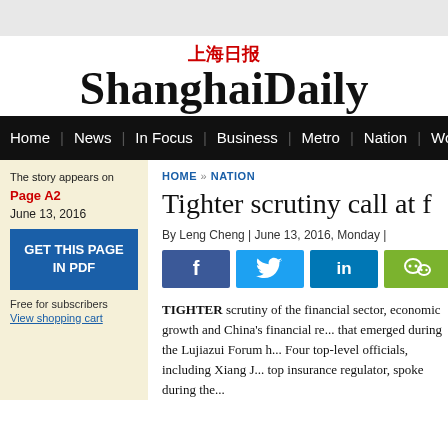上海日报 ShanghaiDaily
Home | News | In Focus | Business | Metro | Nation | Wor...
The story appears on Page A2 June 13, 2016
GET THIS PAGE IN PDF
Free for subscribers View shopping cart
HOME » NATION
Tighter scrutiny call at f...
By Leng Cheng | June 13, 2016, Monday |
TIGHTER scrutiny of the financial sector, economic growth and China's financial re... that emerged during the Lujiazui Forum h... Four top-level officials, including Xiang J... top insurance regulator, spoke during the...